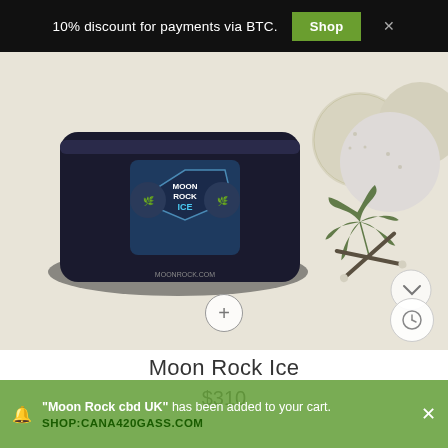10% discount for payments via BTC.  Shop  ×
[Figure (photo): Product photo showing Moon Rock Ice cannabis product: a tin labeled 'Moon Rock Ice' on the left and white powdery cannabis balls on the right with a cannabis leaf and crossed joints illustration.]
Moon Rock Ice
$310
"Moon Rock cbd UK" has been added to your cart. SHOP:CANA420GASS.COM  ×